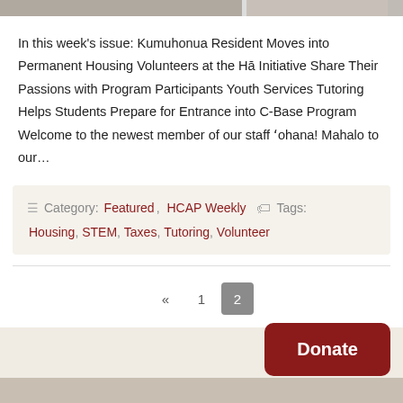[Figure (photo): Partial image strip at the top of the card]
In this week's issue: Kumuhonua Resident Moves into Permanent Housing Volunteers at the Hā Initiative Share Their Passions with Program Participants Youth Services Tutoring Helps Students Prepare for Entrance into C-Base Program Welcome to the newest member of our staff ʻohana! Mahalo to our…
Category: Featured, HCAP Weekly  Tags: Housing, STEM, Taxes, Tutoring, Volunteer
« 1 2  Donate